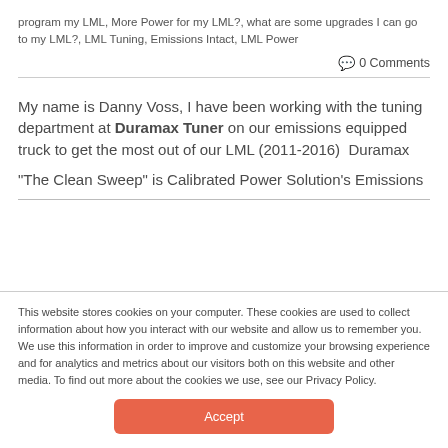program my LML, More Power for my LML?, what are some upgrades I can go to my LML?, LML Tuning, Emissions Intact, LML Power
💬 0 Comments
My name is Danny Voss, I have been working with the tuning department at Duramax Tuner on our emissions equipped truck to get the most out of our LML (2011-2016)  Duramax
"The Clean Sweep" is Calibrated Power Solution's Emissions
This website stores cookies on your computer. These cookies are used to collect information about how you interact with our website and allow us to remember you. We use this information in order to improve and customize your browsing experience and for analytics and metrics about our visitors both on this website and other media. To find out more about the cookies we use, see our Privacy Policy.